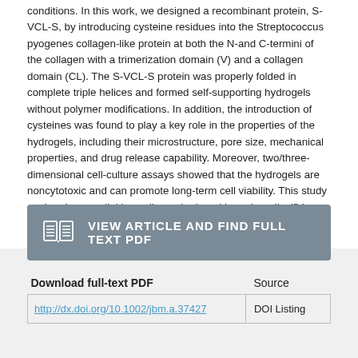conditions. In this work, we designed a recombinant protein, S-VCL-S, by introducing cysteine residues into the Streptococcus pyogenes collagen-like protein at both the N-and C-termini of the collagen with a trimerization domain (V) and a collagen domain (CL). The S-VCL-S protein was properly folded in complete triple helices and formed self-supporting hydrogels without polymer modifications. In addition, the introduction of cysteines was found to play a key role in the properties of the hydrogels, including their microstructure, pore size, mechanical properties, and drug release capability. Moreover, two/three-dimensional cell-culture assays showed that the hydrogels are noncytotoxic and can promote long-term cell viability. This study explored a crosslinking collagen hydrogel based on disulfide bonds and provides a design strategy for collagen-based biomaterials.
[Figure (other): Gray button with book icon and text 'VIEW ARTICLE AND FIND FULL TEXT PDF']
| Download full-text PDF | Source |
| --- | --- |
| http://dx.doi.org/10.1002/jbm.a.37427 | DOI Listing |